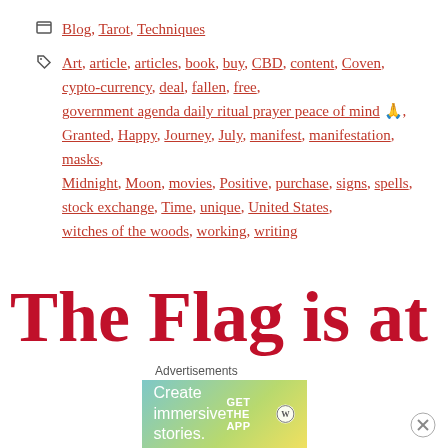Blog, Tarot, Techniques
Art, article, articles, book, buy, CBD, content, Coven, cypto-currency, deal, fallen, free, government agenda daily ritual prayer peace of mind 🙏, Granted, Happy, Journey, July, manifest, manifestation, masks, Midnight, Moon, movies, Positive, purchase, signs, spells, stock exchange, Time, unique, United States, witches of the woods, working, writing
The Flag is at Half Mast Today, Some
[Figure (other): Advertisement banner for WordPress app with text 'Create immersive stories. GET THE APP' and WordPress logo]